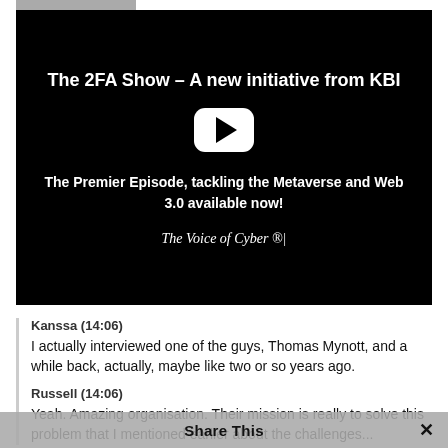[Figure (screenshot): YouTube-style video thumbnail with black background showing title 'The 2FA Show – A new initiative from KBI', a white play button, subtitle 'The Premier Episode, tackling the Metaverse and Web 3.0 available now!', and tagline 'The Voice of Cyber ®|']
Kanssa (14:06)
I actually interviewed one of the guys, Thomas Mynott, and a while back, actually, maybe like two or so years ago.
Russell (14:06)
Yeah. Amazing organisation. Their mission is really to solve this problem that I mentioned earlier about the challenges...
Share This ×